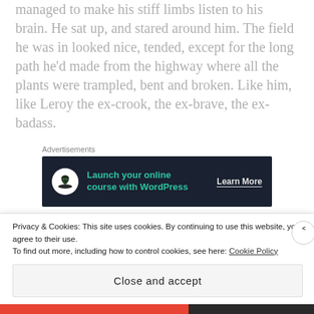managed to make his stiff limbs listen to his brain. He sat up, and stared around him. The field he was in looked nice, tended, except for the long path he'd made from the highway where all the plants were trampled, bent and broken. Like him, like Leroy the ex-crook, the ex-brave, the ex-badass.
Advertisements
[Figure (other): Advertisement banner: dark navy background, bonsai tree icon, text 'Launch your online course with WordPress', 'Learn More' button]
There was a house a few hundreds yards away, at the end of the field. Leroy got to his feet, shaking
Privacy & Cookies: This site uses cookies. By continuing to use this website, you agree to their use.
To find out more, including how to control cookies, see here: Cookie Policy
Close and accept